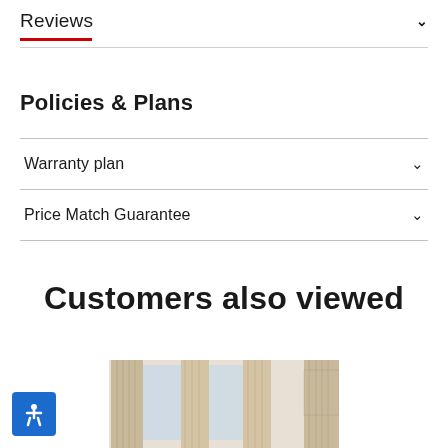Reviews
Policies & Plans
Warranty plan
Price Match Guarantee
Customers also viewed
[Figure (photo): Room with beige/cream floor-length curtains hanging by large windows, interior decor scene]